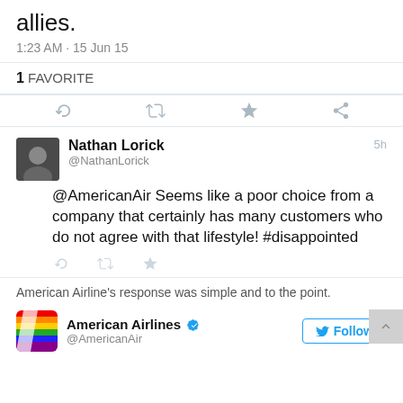allies.
1:23 AM · 15 Jun 15
1 FAVORITE
[Figure (screenshot): Twitter action icons: reply, retweet, favorite (star), share]
Nathan Lorick @NathanLorick 5h
@AmericanAir Seems like a poor choice from a company that certainly has many customers who do not agree with that lifestyle! #disappointed
[Figure (screenshot): Small Twitter action icons: reply, retweet, favorite]
American Airline's response was simple and to the point.
American Airlines @AmericanAir